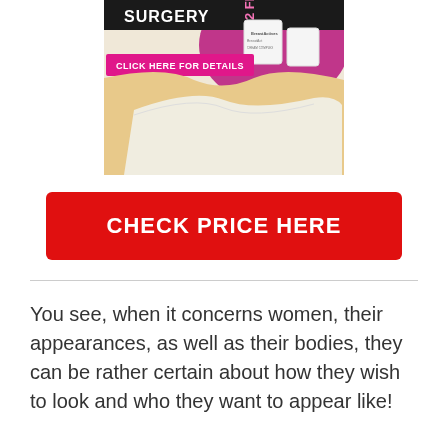[Figure (advertisement): Advertisement image for BreastActives product showing a woman in a white bra top, with product cream/lotion containers in upper right corner, pink/purple circular background behind the products, text reading SURGERY and CLICK HERE FOR DETAILS with 2 FREE promotional text at top.]
CHECK PRICE HERE
You see, when it concerns women, their appearances, as well as their bodies, they can be rather certain about how they wish to look and who they want to appear like!